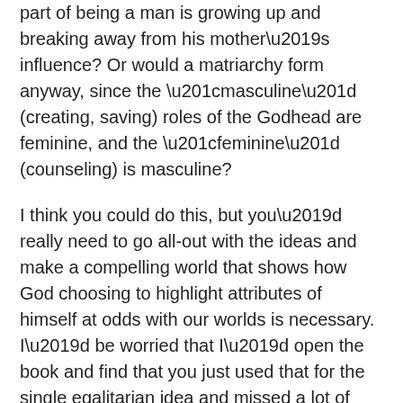part of being a man is growing up and breaking away from his mother's influence? Or would a matriarchy form anyway, since the “masculine” (creating, saving) roles of the Godhead are feminine, and the “feminine” (counseling) is masculine?
I think you could do this, but you’d really need to go all-out with the ideas and make a compelling world that shows how God choosing to highlight attributes of himself at odds with our worlds is necessary. I’d be worried that I’d open the book and find that you just used that for the single egalitarian idea and missed a lot of ramifications from it. I’d definitely read it, though; I like idea fantasy, and this would be at least different from the usual.